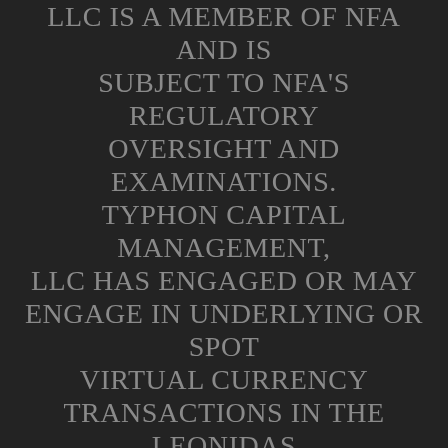LLC IS A MEMBER OF NFA AND IS SUBJECT TO NFA'S REGULATORY OVERSIGHT AND EXAMINATIONS. TYPHON CAPITAL MANAGEMENT, LLC HAS ENGAGED OR MAY ENGAGE IN UNDERLYING OR SPOT VIRTUAL CURRENCY TRANSACTIONS IN THE LEONIDAS CRYPTOCURRENCY PROGRAM AND LEONIDAS CRYPTOCURRENCY FUND, ALTHOUGH NFA HAS JURISDICTION OVER TYPHON CAPITAL MANAGEMENT, LLC AND